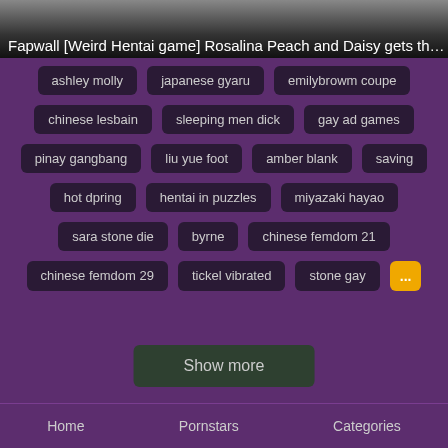[Figure (screenshot): Video thumbnail bar showing partial title text]
ashley molly
japanese gyaru
emilybrowm coupe
chinese lesbain
sleeping men dick
gay ad games
pinay gangbang
liu yue foot
amber blank
saving
hot dpring
hentai in puzzles
miyazaki hayao
sara stone die
byrne
chinese femdom 21
chinese femdom 29
tickel vibrated
stone gay
...
Show more
Home   Pornstars   Categories